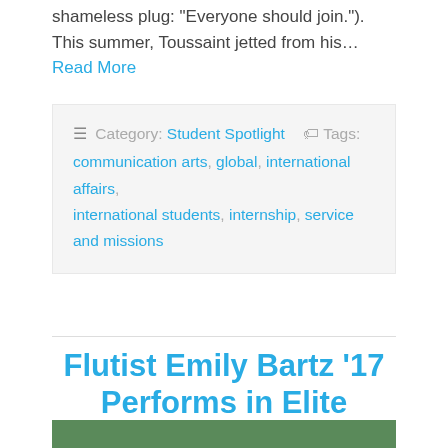shameless plug: “Everyone should join.”). This summer, Toussaint jetted from his... Read More
Category: Student Spotlight   Tags: communication arts, global, international affairs, international students, internship, service and missions
Flutist Emily Bartz ’17 Performs in Elite Ensemble
Posted on August 28, 2015 by collegecomm
Leave a Comment
[Figure (photo): Bottom strip showing top of a photo (outdoor setting with greenery)]